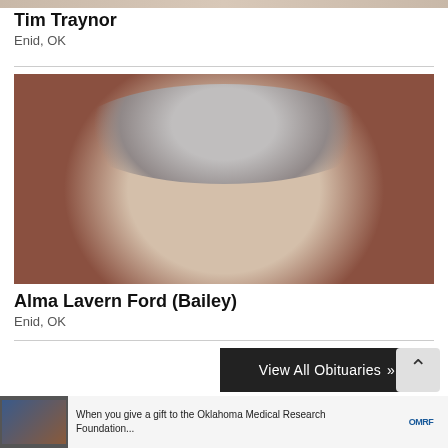[Figure (photo): Cropped top portion of a person photo, only small strip visible at top of page]
Tim Traynor
Enid, OK
[Figure (photo): Portrait photo of an elderly woman with short gray curly hair and glasses, against a dark red background]
Alma Lavern Ford (Bailey)
Enid, OK
View All Obituaries »
When you give a gift to the Oklahoma Medical Research Foundation...